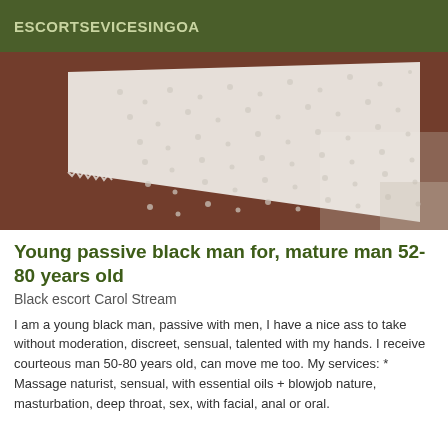ESCORTSEVICESINGOA
[Figure (photo): Close-up photo of white lace fabric held up against a dark brown/reddish background skin tone]
Young passive black man for, mature man 52-80 years old
Black escort Carol Stream
I am a young black man, passive with men, I have a nice ass to take without moderation, discreet, sensual, talented with my hands. I receive courteous man 50-80 years old, can move me too. My services: * Massage naturist, sensual, with essential oils + blowjob nature, masturbation, deep throat, sex, with facial, anal or oral.